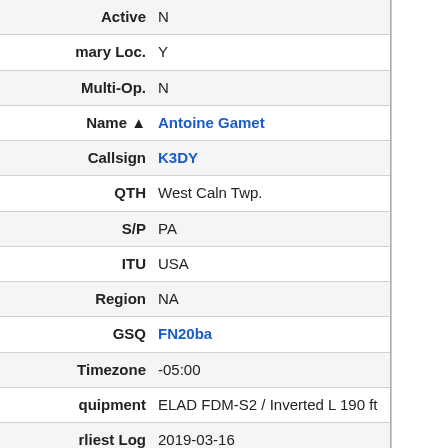| Field | Value |
| --- | --- |
| Active | N |
| Primary Loc. | Y |
| Multi-Op. | N |
| Name ▲ | Antoine Gamet |
| Callsign | K3DY |
| QTH | West Caln Twp. |
| S/P | PA |
| ITU | USA |
| Region | NA |
| GSQ | FN20ba |
| Timezone | -05:00 |
| Equipment | ELAD FDM-S2 / Inverted L 190 ft |
| Earliest Log | 2019-03-16 |
| Latest Log | 2020-05-09 |
| Total Logs | 638 |
| NDB | 314 |
| All Signals | 314 |
| Remote Sess |  |